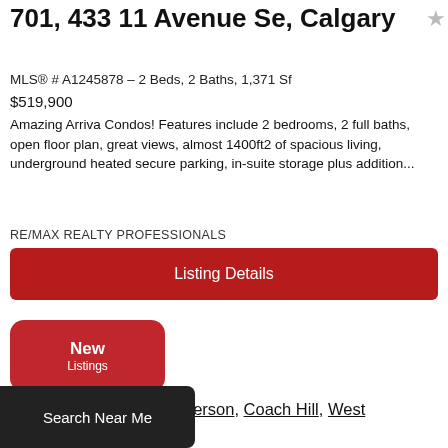701, 433 11 Avenue Se, Calgary
MLS® # A1245878 – 2 Beds, 2 Baths, 1,371 Sf
$519,900
Amazing Arriva Condos! Features include 2 bedrooms, 2 full baths, open floor plan, great views, almost 1400ft2 of spacious living, underground heated secure parking, in-suite storage plus addition...
RE/MAX REALTY PROFESSIONALS
Listing Details
New
Listings
View all Prominence Patterson, Coach Hill, West ... ale.
Search Near Me